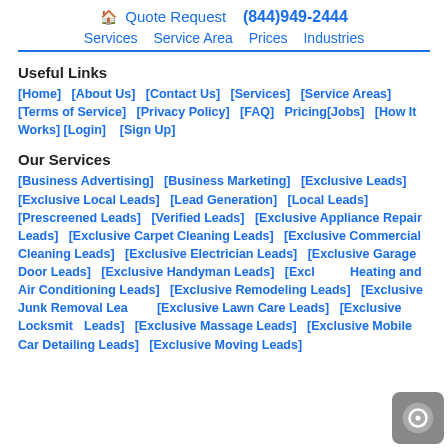🏠 Quote Request  (844)949-2444
Services  Service Area  Prices  Industries
Useful Links
[Home]  [About Us]  [Contact Us]  [Services]  [Service Areas]  [Terms of Service]  [Privacy Policy]  [FAQ]  Pricing[Jobs]  [How It Works]  [Login]   [Sign Up]
Our Services
[Business Advertising]  [Business Marketing]  [Exclusive Leads]  [Exclusive Local Leads]  [Lead Generation]  [Local Leads]  [Prescreened Leads]  [Verified Leads]  [Exclusive Appliance Repair Leads]  [Exclusive Carpet Cleaning Leads]  [Exclusive Commercial Cleaning Leads]  [Exclusive Electrician Leads]  [Exclusive Garage Door Leads]  [Exclusive Handyman Leads]  [Exclusive Heating and Air Conditioning Leads]  [Exclusive Remodeling Leads]  [Exclusive Junk Removal Leads]  [Exclusive Lawn Care Leads]  [Exclusive Locksmith Leads]  [Exclusive Massage Leads]  [Exclusive Mobile Car Detailing Leads]  [Exclusive Moving Leads]